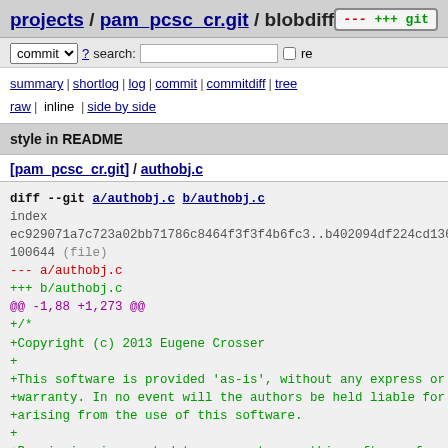projects / pam_pcsc_cr.git / blobdiff +++ git
commit ? search: re
summary | shortlog | log | commit | commitdiff | tree
raw | inline | side by side
style in README
[pam_pcsc_cr.git] / authobj.c
diff --git a/authobj.c b/authobj.c
index
ec929071a7c723a02bb71786c8464f3f3f4b6fc3..b402094df224cd1365
100644 (file)
--- a/authobj.c
+++ b/authobj.c
@@ -1,88 +1,273 @@
+/*
+Copyright (c) 2013 Eugene Crosser
++
+This software is provided 'as-is', without any express or i
+warranty. In no event will the authors be held liable for a
+arising from the use of this software.
++
+Permission is granted to anyone to use this software for an
+including commercial applications, and to alter it and redi
+freely, subject to the following restrictions:
++